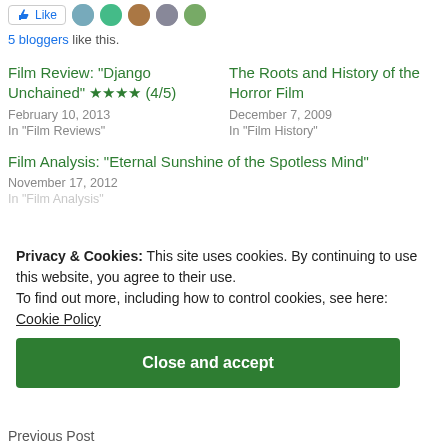5 bloggers like this.
Film Review: "Django Unchained" ★★★★ (4/5)
February 10, 2013
In "Film Reviews"
The Roots and History of the Horror Film
December 7, 2009
In "Film History"
Film Analysis: “Eternal Sunshine of the Spotless Mind”
November 17, 2012
In "Film Analysis"
Privacy & Cookies: This site uses cookies. By continuing to use this website, you agree to their use.
To find out more, including how to control cookies, see here:
Cookie Policy
Close and accept
Previous Post